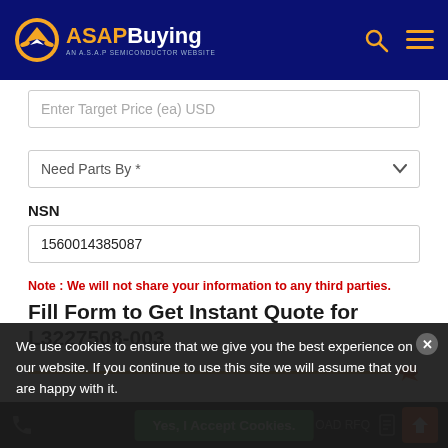ASAP Buying — AN A.S.A.P SEMICONDUCTOR WEBSITE
Enter Target Price (ea) USD
Need Parts By *
NSN
1560014385087
Note : We will not share your information to any third parties.
Fill Form to Get Instant Quote for L3227508-003
We use cookies to ensure that we give you the best experience on our website. If you continue to use this site we will assume that you are happy with it.
Yes, I Accept Cookies.